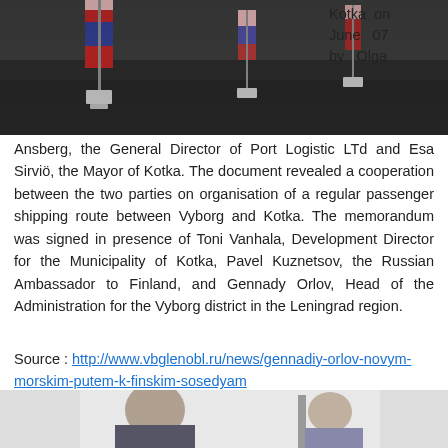[Figure (photo): Photo of flags on a table, likely diplomatic/government meeting setting]
Kotka on June 07 by Olga Ansberg, the General Director of Port Logistic LTd and Esa Sirviö, the Mayor of Kotka. The document revealed a cooperation between the two parties on organisation of a regular passenger shipping route between Vyborg and Kotka. The memorandum was signed in presence of Toni Vanhala, Development Director for the Municipality of Kotka, Pavel Kuznetsov, the Russian Ambassador to Finland, and Gennady Orlov, Head of the Administration for the Vyborg district in the Leningrad region.
Source : http://www.vbglenobl.ru/news/gennadiy-orlov-novym-morskim-putem-k-finskim-sosedyam
[Figure (photo): Bottom partial photo, people at a meeting]